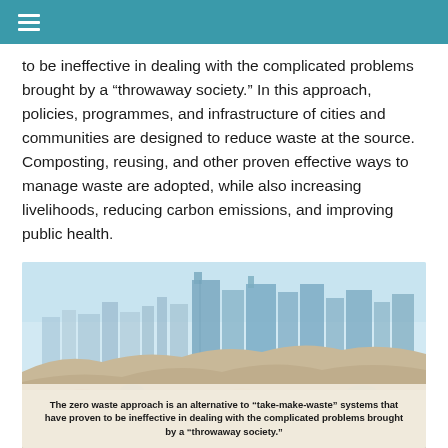≡
to be ineffective in dealing with the complicated problems brought by a “throwaway society.” In this approach, policies, programmes, and infrastructure of cities and communities are designed to reduce waste at the source. Composting, reusing, and other proven effective ways to manage waste are adopted, while also increasing livelihoods, reducing carbon emissions, and improving public health.
[Figure (photo): City skyline rising above a large mound of waste/garbage, with tall modern buildings visible in the background against a light blue sky. In the lower portion of the image there is a caption box.]
The zero waste approach is an alternative to “take-make-waste” systems that have proven to be ineffective in dealing with the complicated problems brought by a “throwaway society.”